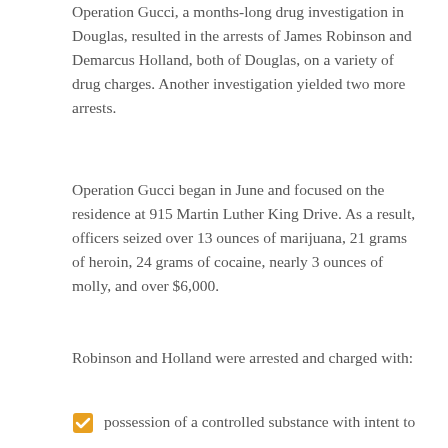Operation Gucci, a months-long drug investigation in Douglas, resulted in the arrests of James Robinson and Demarcus Holland, both of Douglas, on a variety of drug charges. Another investigation yielded two more arrests.
Operation Gucci began in June and focused on the residence at 915 Martin Luther King Drive. As a result, officers seized over 13 ounces of marijuana, 21 grams of heroin, 24 grams of cocaine, nearly 3 ounces of molly, and over $6,000.
Robinson and Holland were arrested and charged with:
possession of a controlled substance with intent to